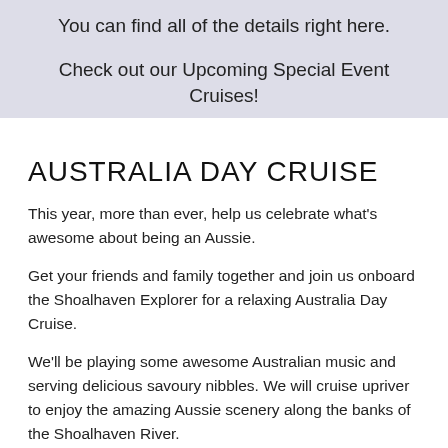You can find all of the details right here.
Check out our Upcoming Special Event Cruises!
AUSTRALIA DAY CRUISE
This year, more than ever, help us celebrate what's awesome about being an Aussie.
Get your friends and family together and join us onboard the Shoalhaven Explorer for a relaxing Australia Day Cruise.
We'll be playing some awesome Australian music and serving delicious savoury nibbles. We will cruise upriver to enjoy the amazing Aussie scenery along the banks of the Shoalhaven River.